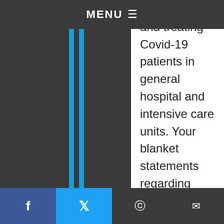MENU
involved with and treating Covid-19 patients in general hospital and intensive care units. Your blanket statements regarding “safe distances”, and recovery rates and the number who are asymptomatic are open to debate/discussion (which I like to do with intelligent people such as yourself – but perhaps in a different forum). I actually agree that Dr. Ragar-Kay should have exercised more judgement in her statements, especially since she is in a position of some authority as a school board member and a physician. i believe the …ould be said of Donald …h I support) or many other
f  🐦  🐦  ✉